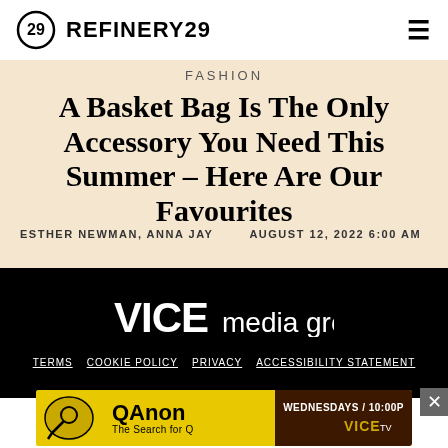REFINERY29
FASHION
A Basket Bag Is The Only Accessory You Need This Summer – Here Are Our Favourites
ESTHER NEWMAN, ANNA JAY    AUGUST 12, 2022 6:00 AM
[Figure (logo): VICE media group logo in white on black background]
TERMS  COOKIE POLICY  PRIVACY  ACCESSIBILITY STATEMENT
[Figure (screenshot): QAnon: The Search for Q advertisement banner — yellow background with logo, WEDNESDAYS / 10:00P, VICE TV]